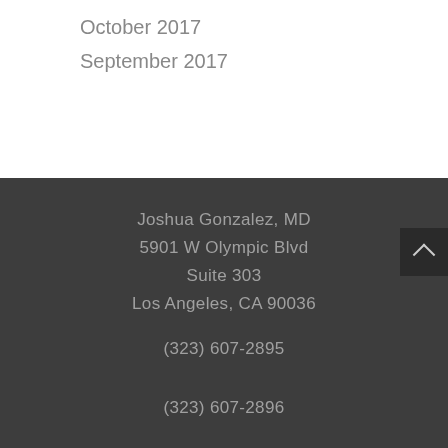October 2017
September 2017
Joshua Gonzalez, MD
5901 W Olympic Blvd
Suite 303
Los Angeles, CA 90036
(323) 607-2895
(323) 607-2896
By appointment only